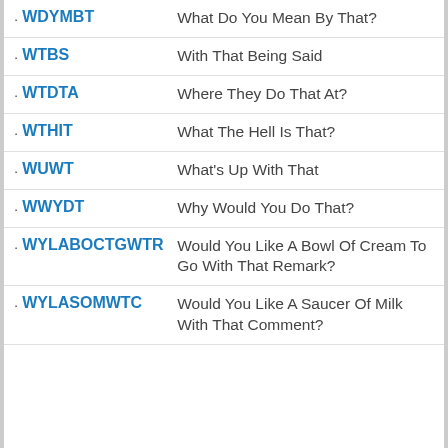WDYMBT – What Do You Mean By That?
WTBS – With That Being Said
WTDTA – Where They Do That At?
WTHIT – What The Hell Is That?
WUWT – What's Up With That
WWYDT – Why Would You Do That?
WYLABOCTGWTR – Would You Like A Bowl Of Cream To Go With That Remark?
WYLASOMWTC – Would You Like A Saucer Of Milk With That Comment?